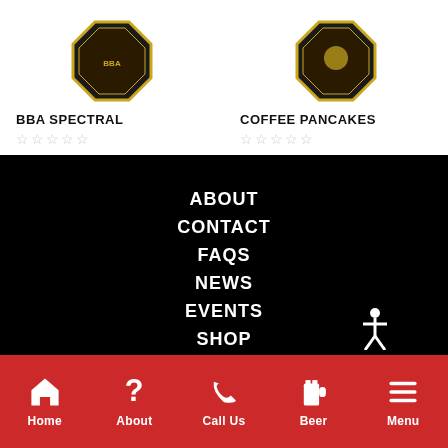BBA SPECTRAL
★★★★★ (empty stars rating)
COFFEE PANCAKES
★★★★★ (empty stars rating)
ABOUT
CONTACT
FAQS
NEWS
EVENTS
SHOP
[Figure (illustration): Accessibility/person icon in white on black background]
Home | About | Call Us | Beer | Menu